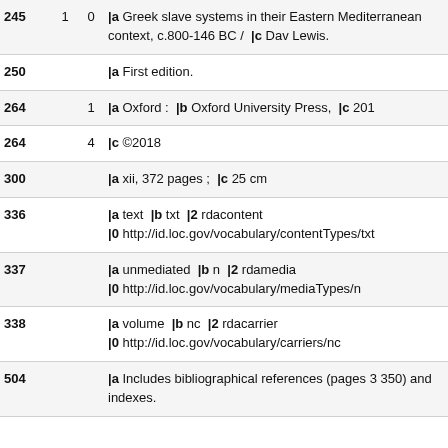| Tag | I1 | I2 | Content |
| --- | --- | --- | --- |
| 245 | 1 | 0 | |a Greek slave systems in their Eastern Mediterranean context, c.800-146 BC /  |c Dav Lewis. |
| 250 |  |  | |a First edition. |
| 264 |  | 1 | |a Oxford :  |b Oxford University Press,  |c 201 |
| 264 |  | 4 | |c ©2018 |
| 300 |  |  | |a xii, 372 pages ;  |c 25 cm |
| 336 |  |  | |a text  |b txt  |2 rdacontent
|0 http://id.loc.gov/vocabulary/contentTypes/txt |
| 337 |  |  | |a unmediated  |b n  |2 rdamedia
|0 http://id.loc.gov/vocabulary/mediaTypes/n |
| 338 |  |  | |a volume  |b nc  |2 rdacarrier
|0 http://id.loc.gov/vocabulary/carriers/nc |
| 504 |  |  | |a Includes bibliographical references (pages 3 350) and indexes. |